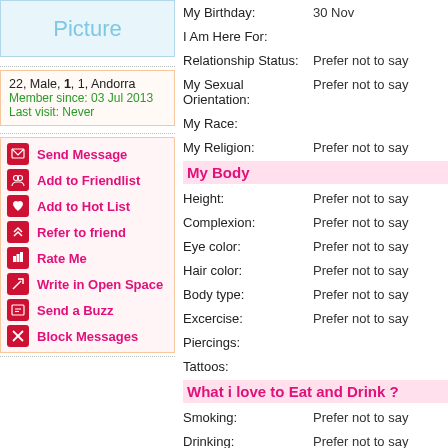[Figure (illustration): Profile picture placeholder box with 'Picture' text in light blue]
22, Male, 1, 1, Andorra
Member since: 03 Jul 2013
Last visit: Never
Send Message
Add to Friendlist
Add to Hot List
Refer to friend
Rate Me
Write in Open Space
Send a Buzz
Block Messages
My Birthday: 30 Nov
I Am Here For:
Relationship Status: Prefer not to say
My Sexual Orientation: Prefer not to say
My Race:
My Religion: Prefer not to say
My Body
Height: Prefer not to say
Complexion: Prefer not to say
Eye color: Prefer not to say
Hair color: Prefer not to say
Body type: Prefer not to say
Excercise: Prefer not to say
Piercings:
Tattoos:
What i love to Eat and Drink ?
Smoking: Prefer not to say
Drinking: Prefer not to say
Cuisines: Prefer not to say